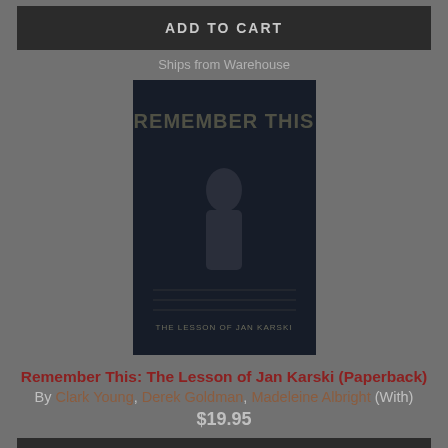ADD TO CART
Ships from Warehouse
[Figure (photo): Book cover for 'Remember This: The Lesson of Jan Karski' — dark cover with silhouette figure and stylized title text]
Remember This: The Lesson of Jan Karski (Paperback)
By Clark Young, Derek Goldman, Madeleine Albright (With)
$19.95
ADD TO CART
Ships from Warehouse
[Figure (photo): Book cover for 'Citizen 865: The Hunt for Hitler's Hidden Soldiers in America' — dark teal cover with large red 865 numerals]